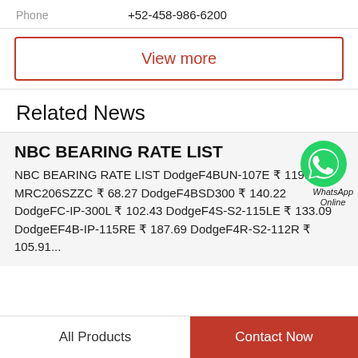Phone   +52-458-986-6200
View more
Related News
NBC BEARING RATE LIST
NBC BEARING RATE LIST DodgeF4BUN-107E ₹ 119.71 MRC206SZZC ₹ 68.27 DodgeF4BSD300 ₹ 140.22 DodgeFC-IP-300L ₹ 102.43 DodgeF4S-S2-115LE ₹ 133.09 DodgeEF4B-IP-115RE ₹ 187.69 DodgeF4R-S2-112R ₹ 105.91...
[Figure (illustration): WhatsApp Online green icon with WhatsApp Online text]
All Products
Contact Now